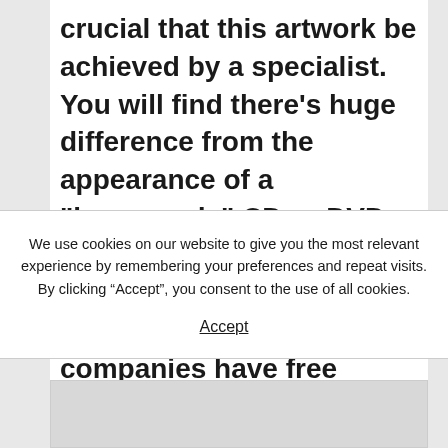crucial that this artwork be achieved by a specialist. You will find there's huge difference from the appearance of a "homemade" CD or DVD cover and something that's done by a skilled artist. Many printing companies have free templates on their website used to
We use cookies on our website to give you the most relevant experience by remembering your preferences and repeat visits. By clicking “Accept”, you consent to the use of all cookies.
Accept